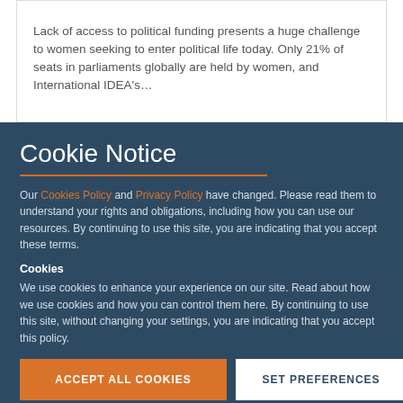Lack of access to political funding presents a huge challenge to women seeking to enter political life today. Only 21% of seats in parliaments globally are held by women, and International IDEA's…
Cookie Notice
Our Cookies Policy and Privacy Policy have changed. Please read them to understand your rights and obligations, including how you can use our resources. By continuing to use this site, you are indicating that you accept these terms.
Cookies
We use cookies to enhance your experience on our site. Read about how we use cookies and how you can control them here. By continuing to use this site, without changing your settings, you are indicating that you accept this policy.
ACCEPT ALL COOKIES
SET PREFERENCES